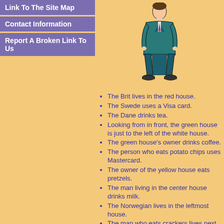Link To The Site Map
Contact Information
Report A Broken Link To Us
[Figure (illustration): Cartoon illustration of a man in a teal/dark green suit standing upright with hands behind back]
The Brit lives in the red house.
The Swede uses a Visa card.
The Dane drinks tea.
Looking from in front, the green house is just to the left of the white house.
The green house's owner drinks coffee.
The person who eats potato chips uses Mastercard.
The owner of the yellow house eats pretzels.
The man living in the center house drinks milk.
The Norwegian lives in the leftmost house.
The man who eats crackers lives next to the one who uses a debit card.